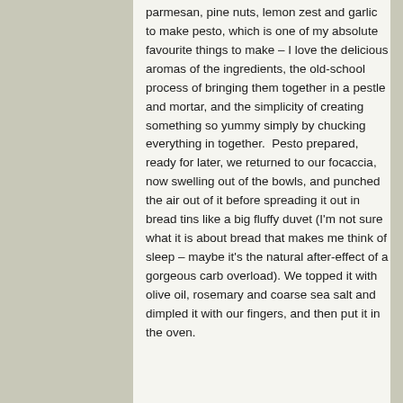parmesan, pine nuts, lemon zest and garlic to make pesto, which is one of my absolute favourite things to make – I love the delicious aromas of the ingredients, the old-school process of bringing them together in a pestle and mortar, and the simplicity of creating something so yummy simply by chucking everything in together.  Pesto prepared, ready for later, we returned to our focaccia, now swelling out of the bowls, and punched the air out of it before spreading it out in bread tins like a big fluffy duvet (I'm not sure what it is about bread that makes me think of sleep – maybe it's the natural after-effect of a gorgeous carb overload). We topped it with olive oil, rosemary and coarse sea salt and dimpled it with our fingers, and then put it in the oven.